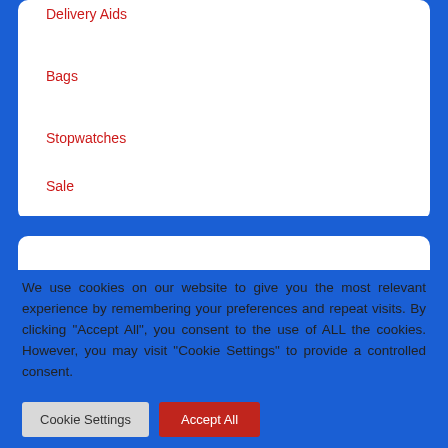Delivery Aids
Bags
Stopwatches
Sale
We use cookies on our website to give you the most relevant experience by remembering your preferences and repeat visits. By clicking “Accept All”, you consent to the use of ALL the cookies. However, you may visit “Cookie Settings” to provide a controlled consent.
Cookie Settings | Accept All